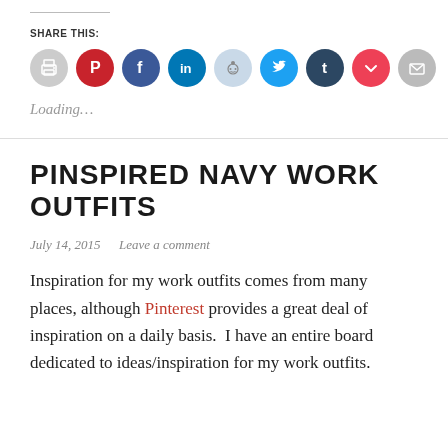SHARE THIS:
[Figure (infographic): Row of social media share icon buttons: print (gray), Pinterest (red), Facebook (blue), LinkedIn (dark blue), Reddit (light blue), Twitter (cyan), Tumblr (dark navy), Pocket (red), Email (gray)]
Loading…
PINSPIRED NAVY WORK OUTFITS
July 14, 2015   Leave a comment
Inspiration for my work outfits comes from many places, although Pinterest provides a great deal of inspiration on a daily basis.  I have an entire board dedicated to ideas/inspiration for my work outfits.